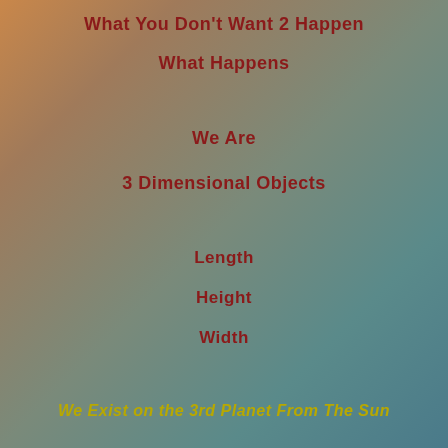What You Don't Want 2 Happen
What Happens
We Are
3 Dimensional Objects
Length
Height
Width
We Exist on the 3rd Planet From The Sun
Too Small Too Big Just Right